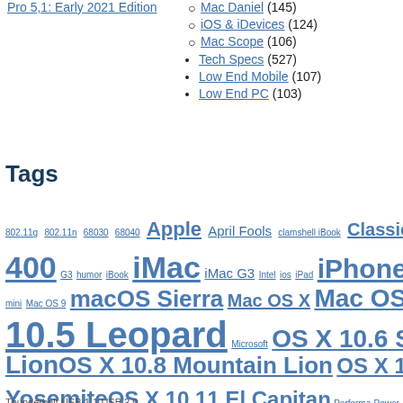Pro 5,1: Early 2021 Edition
Mac Daniel (145)
iOS & iDevices (124)
Mac Scope (106)
Tech Specs (527)
Low End Mobile (107)
Low End PC (103)
Tags
802.11g 802.11n 68030 68040 Apple April Fools clamshell iBook Classic 400 G3 humor iBook iMac iMac G3 Intel ios iPad iPhone Las mini Mac OS 9 macOS Sierra Mac OS X Mac OS X 10.5 Leopard Microsoft OS X 10.6 Snow Lion OS X 10.8 Mountain Lion OS X 10.9 Yosemite OS X 10.11 El Capitan Performa Power Thunderbolt USB 1.1 USB 2.0